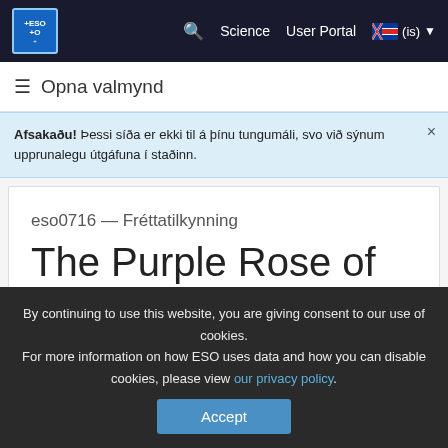ESO — Science  User Portal  (is)
≡ Opna valmynd
Afsakaðu! Þessi síða er ekki til á þínu tungumáli, svo við sýnum upprunalegu útgáfuna í staðinn.
eso0716 — Fréttatilkynning
The Purple Rose of Virgo
By continuing to use this website, you are giving consent to our use of cookies. For more information on how ESO uses data and how you can disable cookies, please view our privacy policy.